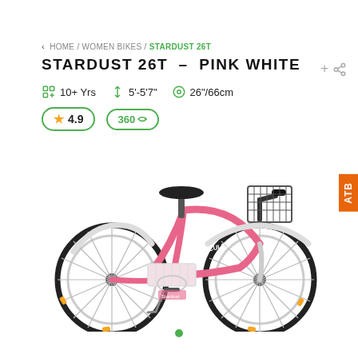< HOME / WOMEN BIKES / STARDUST 26T
STARDUST 26T - PINK WHITE
10+ Yrs   5'-5'7"   26"/66cm
★ 4.9   360
[Figure (photo): Pink and white women's city bicycle (Stardust 26T) with front basket, rear carrier basket, black seat, and spoke wheels on white background.]
ATB